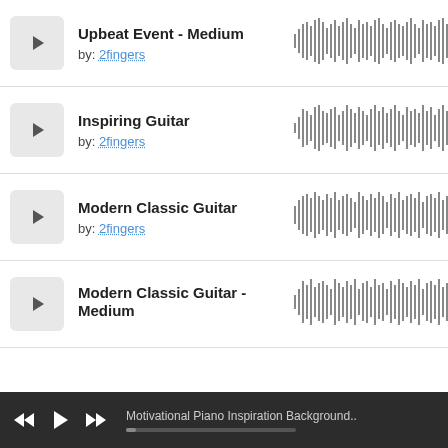Upbeat Event - Medium
by: 2fingers
[Figure (other): Audio waveform visualization for Upbeat Event - Medium]
Inspiring Guitar
by: 2fingers
[Figure (other): Audio waveform visualization for Inspiring Guitar]
Modern Classic Guitar
by: 2fingers
[Figure (other): Audio waveform visualization for Modern Classic Guitar]
Modern Classic Guitar - Medium
[Figure (other): Audio waveform visualization for Modern Classic Guitar - Medium]
Motivational Piano Inspiration Background..